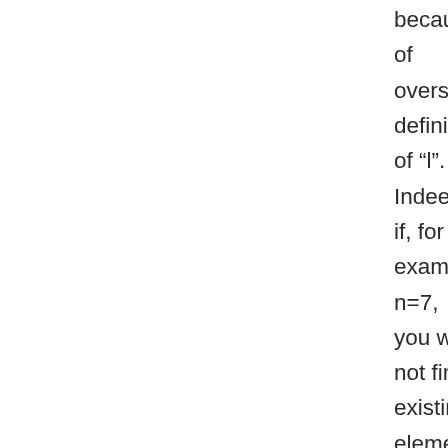because of oversimplified definition of "l". Indeed, if, for example, n=7, you will not find existing elements in the current periodic table corresponding to l=(7-